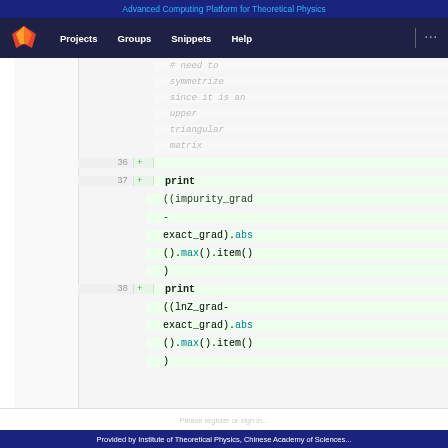Advanced Computing Platform for Theoretical Physics
[Figure (screenshot): GitLab navigation bar with logo, Projects, Groups, Snippets, Help links on dark navy background]
Code diff view showing lines 36-38 added (green highlighted). Line 36 is blank (+). Line 37: + print ((impurity_grad - exact_grad).abs().max().item()). Line 38: + print ((lnZ_grad-exact_grad).abs().max().item()). Above is a comment in grey italic: # need to symmetrize since it is an upper triangular matrix
Provided by Institute of Theoretical Physics, Chinese Academy of Sciences...